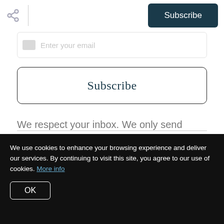Subscribe
Enter your email
Subscribe
We respect your inbox. We only send interesting and relevant emails.
We use cookies to enhance your browsing experience and deliver our services. By continuing to visit this site, you agree to our use of cookies. More info
OK